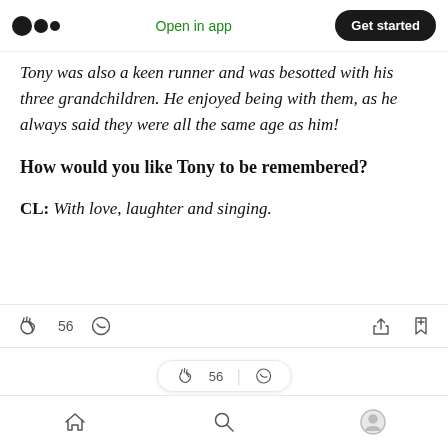Medium app navigation bar with logo, Open in app, Get started
Tony was also a keen runner and was besotted with his three grandchildren. He enjoyed being with them, as he always said they were all the same age as him!
How would you like Tony to be remembered?
CL: With love, laughter and singing.
Action bar with clap (56), comment, share, bookmark icons. Bottom navigation with home, search, profile.